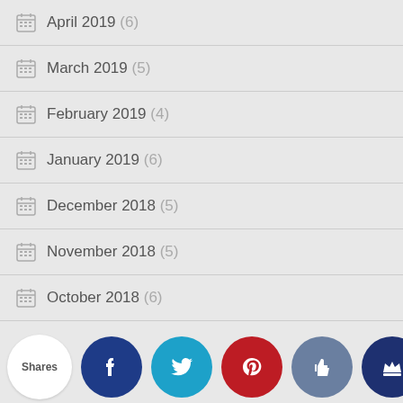April 2019 (6)
March 2019 (5)
February 2019 (4)
January 2019 (6)
December 2018 (5)
November 2018 (5)
October 2018 (6)
September 2018 (4)
August 2... (...)
[Figure (infographic): Social sharing bar with Shares badge and buttons for Facebook, Twitter, Pinterest, Like, and Crown icon]